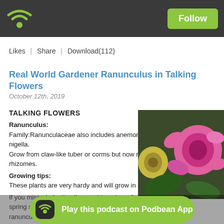Podbean podcast app header with Follow button
Likes | Share | Download(112)
Real World Gardener Ranunculus in Talking Flowers
October 12th, 2019
TALKING FLOWERS
Ranunculus: Family:Ranunculaceae also includes anemones, clematis, delphiniums, nigella. Grow from claw-like tuber or corms but now referred to as thickened rhizomes.
Growing tips: These plants are very hardy and will grow in a wide range of conditions.
If you missed planting them out in autumn for a spring show, buy ranunculus from your favourite florist.
[Figure (photo): Pink and yellow ranunculus flowers close-up photograph]
Play this podcast on Podbean App